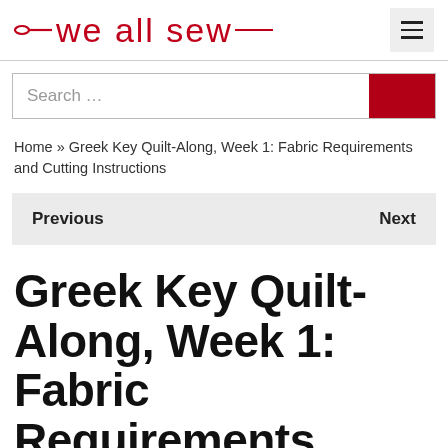we all sew
Search …
Home » Greek Key Quilt-Along, Week 1: Fabric Requirements and Cutting Instructions
Previous   Next
Greek Key Quilt-Along, Week 1: Fabric Requirements